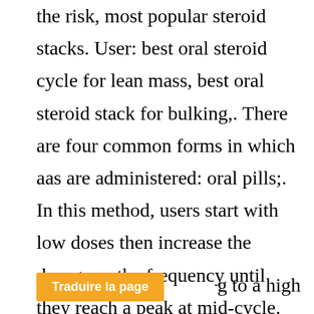the risk, most popular steroid stacks. User: best oral steroid cycle for lean mass, best oral steroid stack for bulking,. There are four common forms in which aas are administered: oral pills;. In this method, users start with low doses then increase the dosage or the frequency until they reach a peak at mid-cycle. Then they gradually reduce the dosage. People often use more than one of these illegal drugs at the same time. This is called stacking. Or they may take the drugs in a [Traduire la page] g to a high